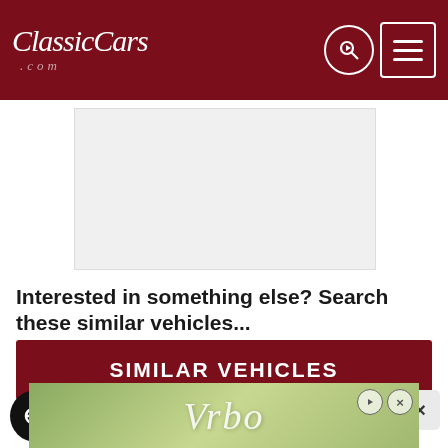ClassicCars.com
[Figure (other): Gray placeholder advertisement box]
Interested in something else? Search these similar vehicles...
SIMILAR VEHICLES
[Figure (other): Accessibility icon (wheelchair symbol in black circle)]
[Figure (other): Vrbo advertisement banner strip at bottom of page]